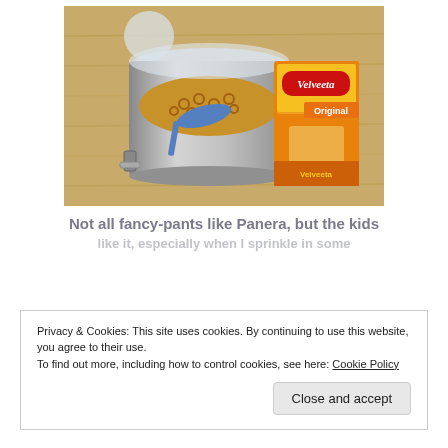[Figure (photo): Photo of a metal canister filled with small ring-shaped pasta (like Cheerios-shaped pasta) with a blue scoop inside, next to a Velveeta Original cheese block box, on a wooden butcher block countertop.]
Not all fancy-pants like Panera, but the kids like it, especially when I sprinkle in some
Privacy & Cookies: This site uses cookies. By continuing to use this website, you agree to their use.
To find out more, including how to control cookies, see here: Cookie Policy
Close and accept